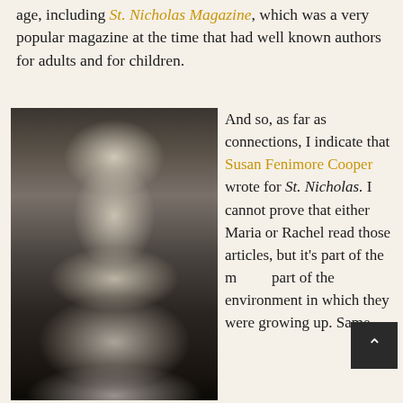age, including St. Nicholas Magazine, which was a very popular magazine at the time that had well known authors for adults and for children.
[Figure (photo): Black and white portrait photograph of a young woman with hair pulled back, wearing a high-collared white blouse with smocking/embroidery detail]
And so, as far as connections, I indicate that Susan Fenimore Cooper wrote for St. Nicholas. I cannot prove that either Maria or Rachel read those articles, but it's part of the m[illieu,] part of the environment in which they were growing up. Same